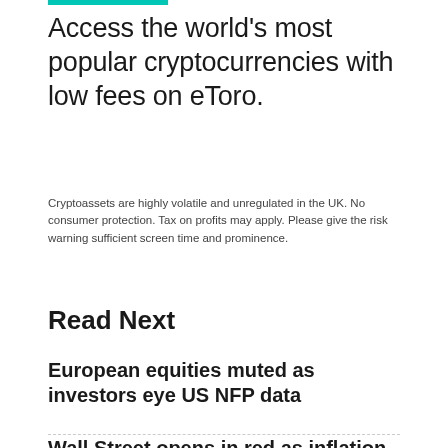Access the world's most popular cryptocurrencies with low fees on eToro.
Cryptoassets are highly volatile and unregulated in the UK. No consumer protection. Tax on profits may apply. Please give the risk warning sufficient screen time and prominence.
Read Next
European equities muted as investors eye US NFP data
Wall Street opens in red as inflation worries intensify
US markets turn red at the close after volatile session